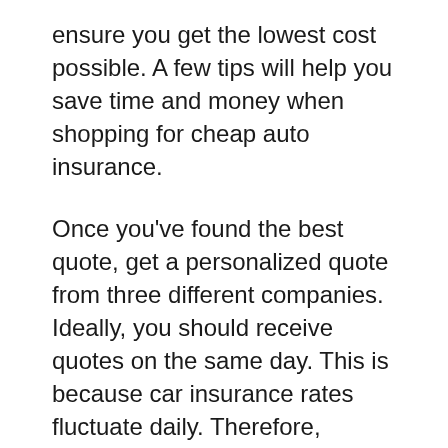ensure you get the lowest cost possible. A few tips will help you save time and money when shopping for cheap auto insurance.
Once you've found the best quote, get a personalized quote from three different companies. Ideally, you should receive quotes on the same day. This is because car insurance rates fluctuate daily. Therefore, requesting these quotes on the same day will help you get the best deal. You may even find that you can get the best rate by comparing three different sections. You'll need to reach a few other companies side-by-side to determine which is the most affordable.
There are several ways to get a cheap auto